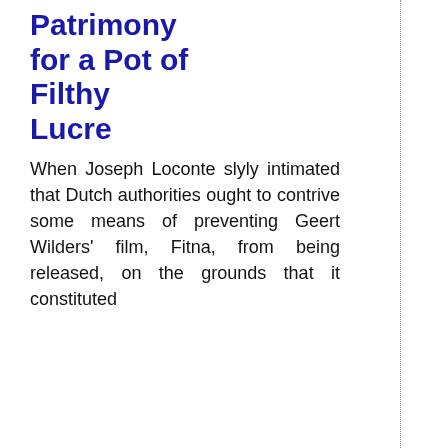Patrimony for a Pot of Filthy Lucre
When Joseph Loconte slyly intimated that Dutch authorities ought to contrive some means of preventing Geert Wilders' film, Fitna, from being released, on the grounds that it constituted